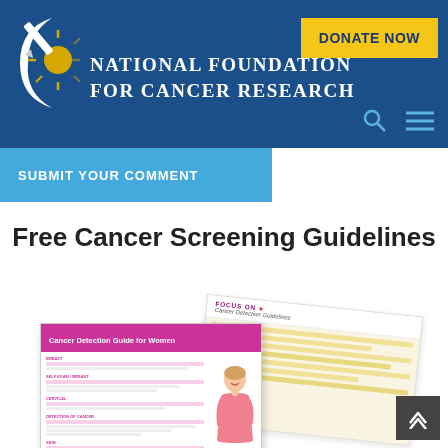[Figure (logo): National Foundation for Cancer Research logo with white crescent and sun/star burst symbol on blue background header]
NATIONAL FOUNDATION FOR CANCER RESEARCH
DONATE NOW
SUBMIT YOUR COMMENT
Free Cancer Screening Guidelines
[Figure (photo): Two overlapping cancer detection guideline brochures/pamphlets. Front one titled 'Cancer Detection Guide for Women' with purple header and a woman in pink. Back one titled 'Focus on Cancer Detection - Cancer Detection Guidelines' in yellow/beige.]
[Figure (other): Scroll-to-top arrow button in dark grey square in bottom right]